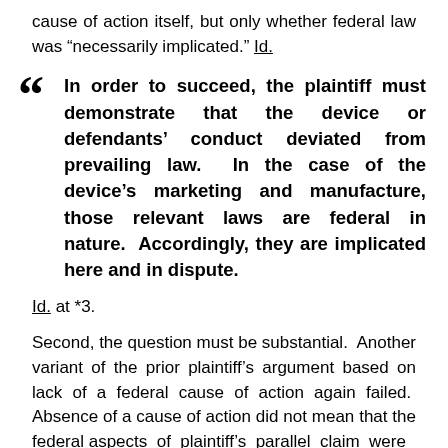cause of action itself, but only whether federal law was “necessarily implicated.” Id.
“ In order to succeed, the plaintiff must demonstrate that the device or defendants’ conduct deviated from prevailing law. In the case of the device’s marketing and manufacture, those relevant laws are federal in nature. Accordingly, they are implicated here and in dispute.
Id. at *3.
Second, the question must be substantial. Another variant of the prior plaintiff’s argument based on lack of a federal cause of action again failed. Absence of a cause of action did not mean that the federal aspects of plaintiff’s parallel claim were